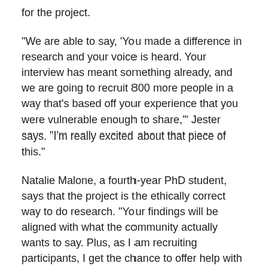for the project.
“We are able to say, ‘You made a difference in research and your voice is heard. Your interview has meant something already, and we are going to recruit 800 more people in a way that’s based off your experience that you were vulnerable enough to share,’” Jester says. “I’m really excited about that piece of this.”
Natalie Malone, a fourth-year PhD student, says that the project is the ethically correct way to do research. “Your findings will be aligned with what the community actually wants to say. Plus, as I am recruiting participants, I get the chance to offer help with things people are experiencing in that moment,” she explains. “I have had the chance to provide info